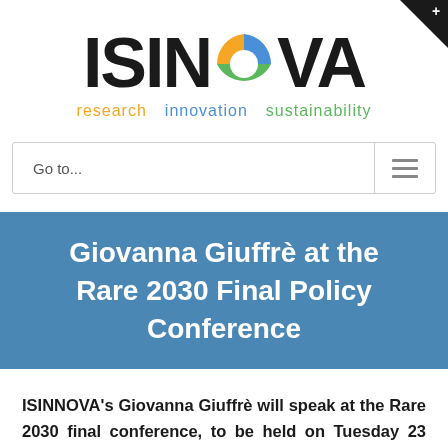[Figure (logo): ISINNOVA logo with circular multicolor icon (blue, green, yellow segments) replacing the letter O, with tagline 'research innovation sustainability' in orange, blue, and green]
Go to...
Giovanna Giuffrè at the Rare 2030 Final Policy Conference
ISINNOVA's Giovanna Giuffrè will speak at the Rare 2030 final conference, to be held on Tuesday 23 February 2021 at 13:30 – 18:30 CET. Co-hosted by Members of the